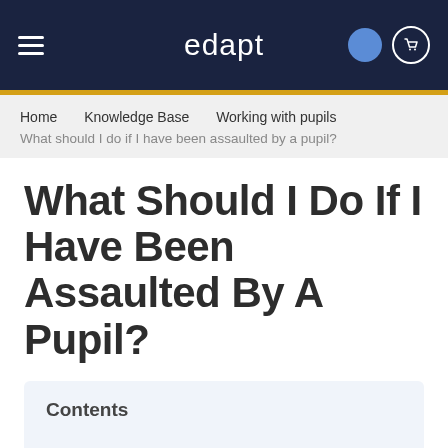[Figure (screenshot): edapt website navigation bar with hamburger menu, edapt logo, user avatar and cart icon on dark navy background]
Home  Knowledge Base  Working with pupils
What should I do if I have been assaulted by a pupil?
What Should I Do If I Have Been Assaulted By A Pupil?
Contents